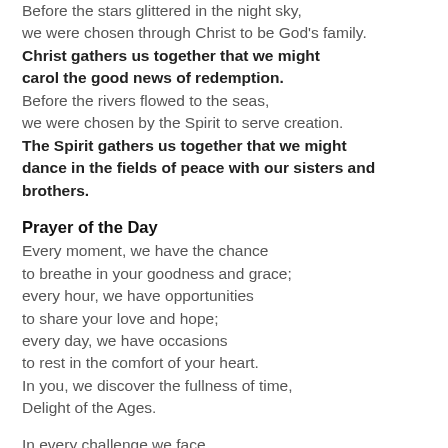Before the stars glittered in the night sky,
we were chosen through Christ to be God's family.
Christ gathers us together that we might carol the good news of redemption.
Before the rivers flowed to the seas,
we were chosen by the Spirit to serve creation.
The Spirit gathers us together that we might dance in the fields of peace with our sisters and brothers.
Prayer of the Day
Every moment, we have the chance
to breathe in your goodness and grace;
every hour, we have opportunities
to share your love and hope;
every day, we have occasions
to rest in the comfort of your heart.
In you, we discover the fullness of time,
Delight of the Ages.
In every challenge we face,
we can find the strength to persevere;